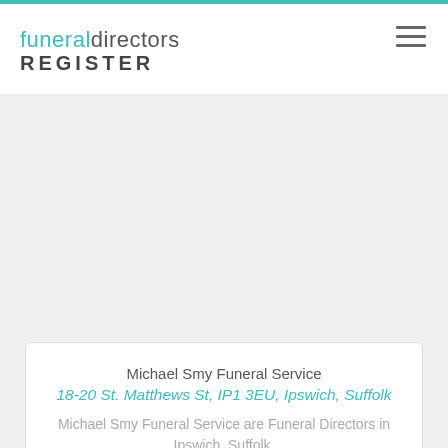funeral directors REGISTER
Michael Smy Funeral Service
18-20 St. Matthews St, IP1 3EU, Ipswich, Suffolk
Michael Smy Funeral Service are Funeral Directors in Ipswich, Suffolk.